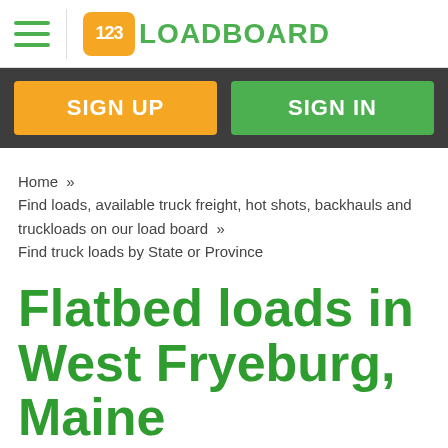123LOADBOARD
SIGN UP | SIGN IN
Home » Find loads, available truck freight, hot shots, backhauls and truckloads on our load board » Find truck loads by State or Province
Flatbed loads in West Fryeburg, Maine